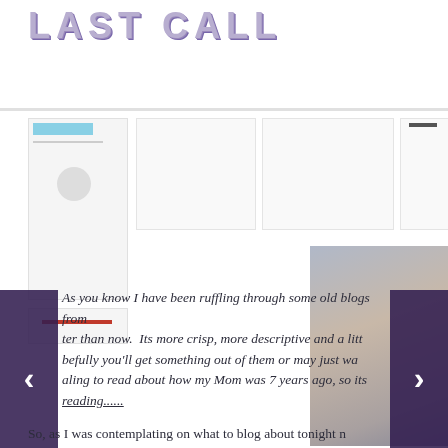LAST CALL
[Figure (screenshot): Website screenshot showing navigation UI blocks, image thumbnails, a photo of a person, and navigation arrows overlaid on a blog page.]
As you know I have been ruffling through some old blogs from [further] than now. Its more crisp, more descriptive and a litt[le...] [Ho]pefully you'll get something out of them or may just wa[nt] [to be nost]algic to read about how my Mom was 7 years ago, so its [worth] reading......
So, as I was contemplating on what to blog about tonight n[ow]